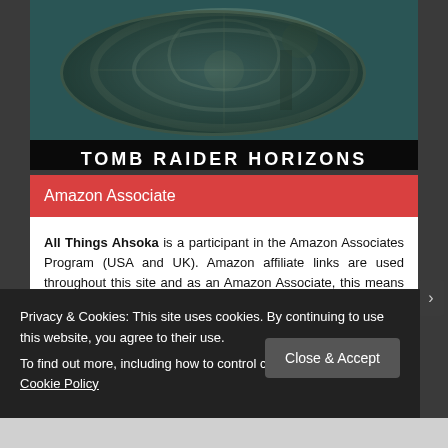[Figure (photo): Banner image of Tomb Raider Horizons website showing a character interacting with a large stone wheel/medallion artifact in a teal-toned scene]
TOMB RAIDER HORIZONS
Amazon Associate
All Things Ahsoka is a participant in the Amazon Associates Program (USA and UK). Amazon affiliate links are used throughout this site and as an Amazon Associate, this means that I may earn a small commission for any qualifying purchases made via Amazon or Amazon UK at no extra cost to
Privacy & Cookies: This site uses cookies. By continuing to use this website, you agree to their use.
To find out more, including how to control cookies, see here: Our Cookie Policy
Close & Accept